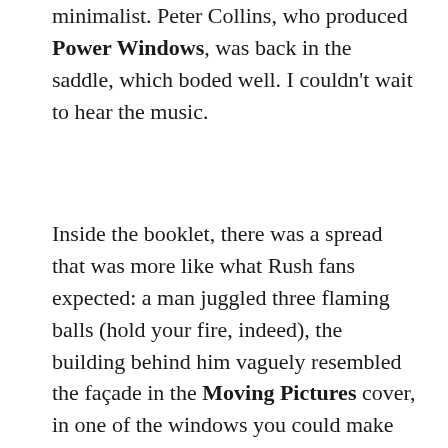minimalist. Peter Collins, who produced Power Windows, was back in the saddle, which boded well. I couldn't wait to hear the music.
Inside the booklet, there was a spread that was more like what Rush fans expected: a man juggled three flaming balls (hold your fire, indeed), the building behind him vaguely resembled the façade in the Moving Pictures cover, in one of the windows you could make out the three vintage television sets from Power Windows, on the sidewalk stood the red fire hydrant from Signals, and the Chinese restaurant's clock read 21:12 in military time (it turns out the